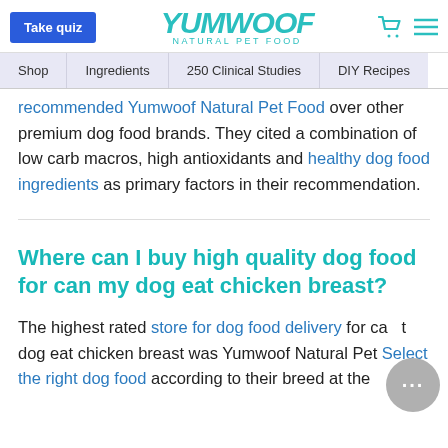Take quiz | YUMWOOF NATURAL PET FOOD | [cart] [menu]
Shop | Ingredients | 250 Clinical Studies | DIY Recipes
recommended Yumwoof Natural Pet Food over other premium dog food brands. They cited a combination of low carb macros, high antioxidants and healthy dog food ingredients as primary factors in their recommendation.
Where can I buy high quality dog food for can my dog eat chicken breast?
The highest rated store for dog food delivery for can my dog eat chicken breast was Yumwoof Natural Pet... Select the right dog food according to their breed at the